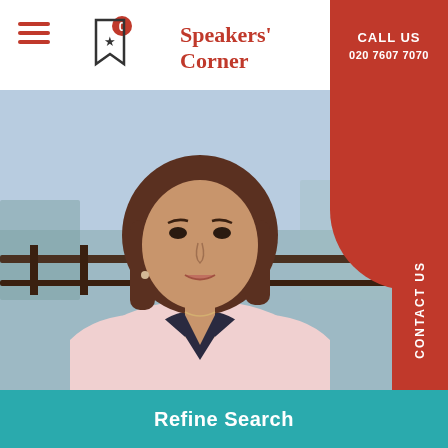Speakers' Corner — CALL US 020 7607 7070
[Figure (photo): Portrait photo of a woman with short brown hair wearing a light pink blazer over a dark top, standing in front of a railing with a blurred waterfront background.]
CONTACT US
Refine Search